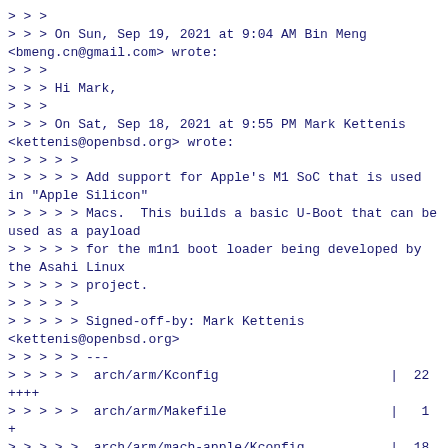>>>
>>> On Sun, Sep 19, 2021 at 9:04 AM Bin Meng <bmeng.cn@gmail.com> wrote:
>>>
>>> Hi Mark,
>>>
>>> On Sat, Sep 18, 2021 at 9:55 PM Mark Kettenis <kettenis@openbsd.org> wrote:
>>>>>
>>>>> Add support for Apple's M1 SoC that is used in "Apple Silicon"
>>>>> Macs.  This builds a basic U-Boot that can be used as a payload
>>>>> for the m1n1 boot loader being developed by the Asahi Linux
>>>>> project.
>>>>>
>>>>> Signed-off-by: Mark Kettenis <kettenis@openbsd.org>
>>>>> ---
>>>>>  arch/arm/Kconfig                      |  22 ++++
>>>>>  arch/arm/Makefile                     |   1 +
>>>>>  arch/arm/mach-apple/Kconfig           |  18 ++++
>>>>>  arch/arm/mach-apple/Makefile          |   4 +
>>>>>  arch/arm/mach-apple/board.c           | 158 ++++++++++++++++++++++++++++
>>>>>  arch/arm/mach-apple/lowlevel_init.S |  16 +++